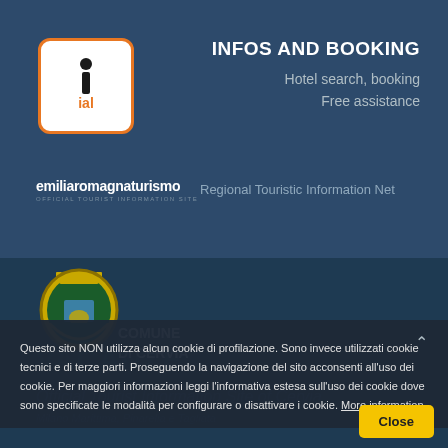[Figure (logo): IAL tourism booking logo — white background with orange border, letter 'i' above stylized 'ial' text]
INFOS AND BOOKING
Hotel search, booking
Free assistance
[Figure (logo): emiliaromagnaturismo logo — white text with OFFICIAL TOURIST INFORMATION SITE subtitle]
Regional Touristic Information Net
[Figure (logo): Comune di Cervia municipal coat of arms seal]
COMUNE
DI CERVIA
Questo sito NON utilizza alcun cookie di profilazione. Sono invece utilizzati cookie tecnici e di terze parti. Proseguendo la navigazione del sito acconsenti all'uso dei cookie. Per maggiori informazioni leggi l'informativa estesa sull'uso dei cookie dove sono specificate le modalità per configurare o disattivare i cookie. More information
Official Tourist Information Site of Cervia